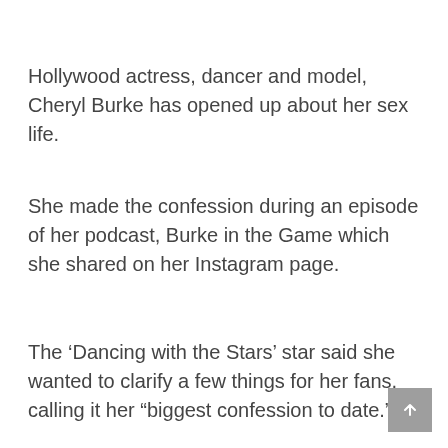Hollywood actress, dancer and model, Cheryl Burke has opened up about her sex life.
She made the confession during an episode of her podcast, Burke in the Game which she shared on her Instagram page.
The ‘Dancing with the Stars’ star said she wanted to clarify a few things for her fans, calling it her “biggest confession to date.”